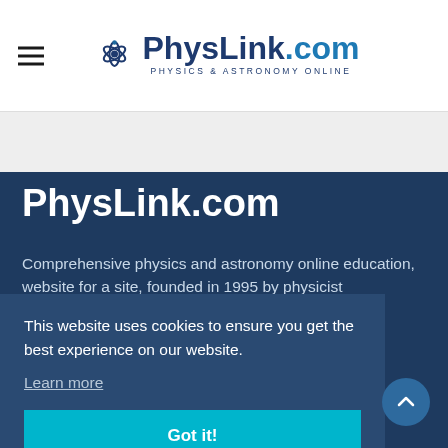PhysLink.com — Physics & Astronomy Online
PhysLink.com
Comprehensive physics and astronomy online education, website for a site, founded in 1995 by physicist
This website uses cookies to ensure you get the best experience on our website. Learn more
Got it!